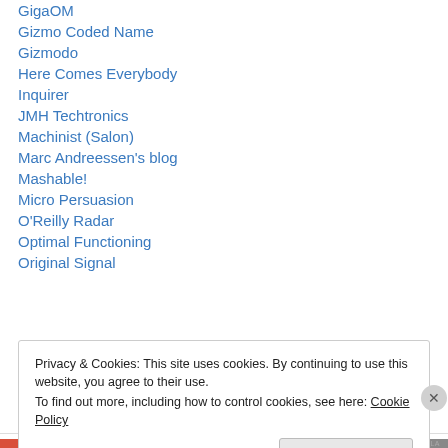GigaOM
Gizmo Coded Name
Gizmodo
Here Comes Everybody
Inquirer
JMH Techtronics
Machinist (Salon)
Marc Andreessen's blog
Mashable!
Micro Persuasion
O'Reilly Radar
Optimal Functioning
Original Signal
Privacy & Cookies: This site uses cookies. By continuing to use this website, you agree to their use.
To find out more, including how to control cookies, see here: Cookie Policy
Close and accept